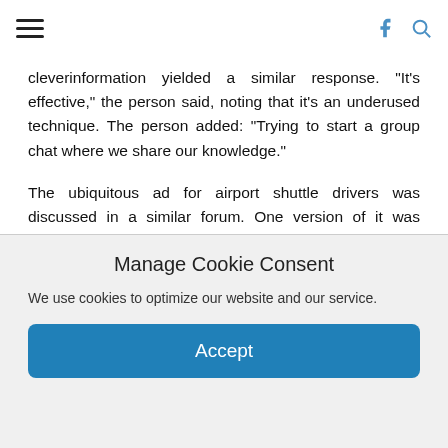Menu | Facebook | Search
cleverinformation yielded a similar response. “It’s effective,” the person said, noting that it’s an underused technique. The person added: “Trying to start a group chat where we share our knowledge.”
The ubiquitous ad for airport shuttle drivers was discussed in a similar forum. One version of it was posted in a Telegram channel of a Nigerian scam group called Yahoo Boys Community, along with instructions on what to tell applicants to get them to share their Social Security number, photographs of their driver’s license and other personal details. The post urged the group’s 5,000 members to ask applicants generic questions via email and offer them the gig — but only if they first shared their personal documents to land the plum job. “Once the client
Manage Cookie Consent
We use cookies to optimize our website and our service.
Accept